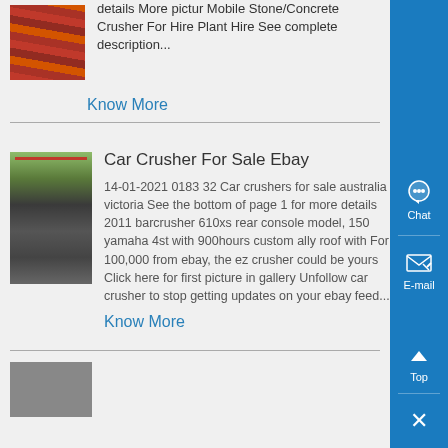details More pictur Mobile Stone/Concrete Crusher For Hire Plant Hire See complete description...
Know More
[Figure (photo): Industrial yellow and red metal sheets/panels stacked]
Car Crusher For Sale Ebay
14-01-2021 0183 32 Car crushers for sale australia victoria See the bottom of page 1 for more details 2011 barcrusher 610xs rear console model, 150 yamaha 4st with 900hours custom ally roof with For 100,000 from ebay, the ez crusher could be yours Click here for first picture in gallery Unfollow car crusher to stop getting updates on your ebay feed...
Know More
[Figure (photo): Industrial factory interior with overhead crane, large machinery]
[Figure (photo): Partial image of another listing at bottom]